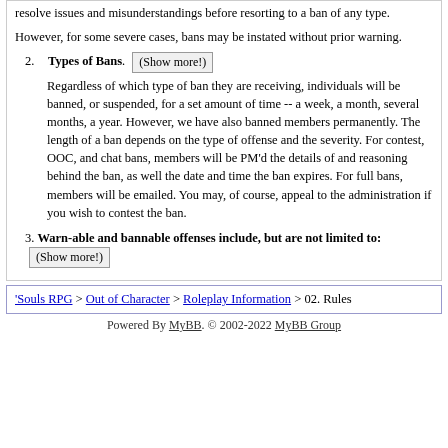resolve issues and misunderstandings before resorting to a ban of any type.
However, for some severe cases, bans may be instated without prior warning.
2. Types of Bans. (Show more!)
Regardless of which type of ban they are receiving, individuals will be banned, or suspended, for a set amount of time -- a week, a month, several months, a year. However, we have also banned members permanently. The length of a ban depends on the type of offense and the severity. For contest, OOC, and chat bans, members will be PM'd the details of and reasoning behind the ban, as well the date and time the ban expires. For full bans, members will be emailed. You may, of course, appeal to the administration if you wish to contest the ban.
3. Warn-able and bannable offenses include, but are not limited to: (Show more!)
'Souls RPG > Out of Character > Roleplay Information > 02. Rules
Powered By MyBB. © 2002-2022 MyBB Group